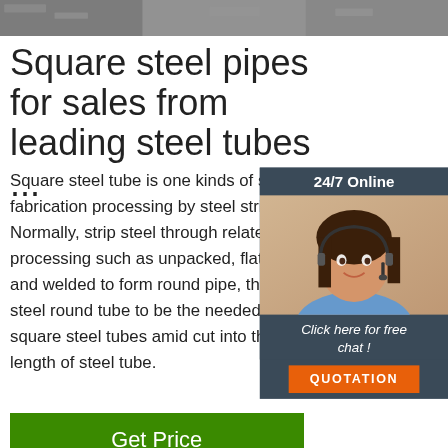[Figure (photo): Top banner photo of steel pipes/materials, gray tones]
Square steel pipes for sales from leading steel tubes ...
Square steel tube is one kinds of steel pipe, fabrication processing by steel strip coile. Normally, strip steel through related processing such as unpacked, flattened, and welded to form round pipe, then rolled steel round tube to be the needed shape, square steel tubes amid cut into the required length of steel tube.
[Figure (photo): Chat widget with woman wearing headset, 24/7 Online label, Click here for free chat, QUOTATION button]
[Figure (illustration): TOP logo with orange dots forming arc above text]
[Figure (photo): Bottom photo of bundled steel rods/bars stacked in warehouse]